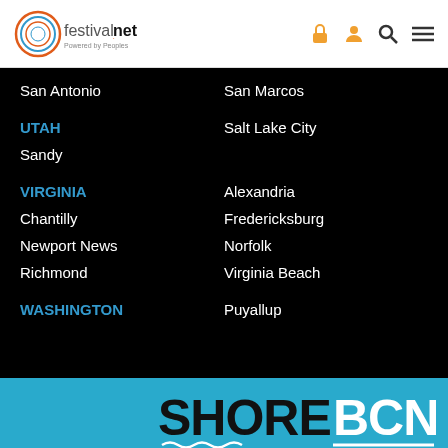festivalnet. Powered by Peoples
San Antonio
San Marcos
UTAH
Salt Lake City
Sandy
VIRGINIA
Alexandria
Chantilly
Fredericksburg
Newport News
Norfolk
Richmond
Virginia Beach
WASHINGTON
Puyallup
[Figure (logo): SHORE BCN advertisement banner on blue background with wave decoration]